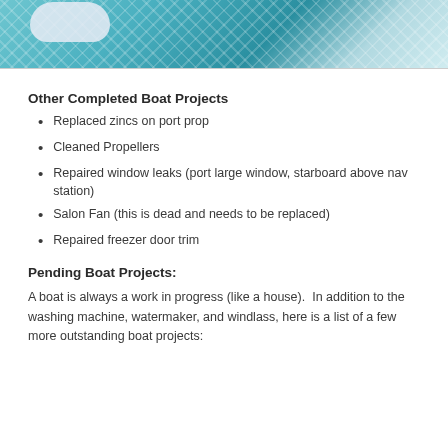[Figure (photo): Top portion of a photo showing a boat with teal/turquoise netting or mesh pattern and white elements, partially cropped at the top of the page.]
Other Completed Boat Projects
Replaced zincs on port prop
Cleaned Propellers
Repaired window leaks (port large window, starboard above nav station)
Salon Fan (this is dead and needs to be replaced)
Repaired freezer door trim
Pending Boat Projects:
A boat is always a work in progress (like a house).  In addition to the washing machine, watermaker, and windlass, here is a list of a few more outstanding boat projects: